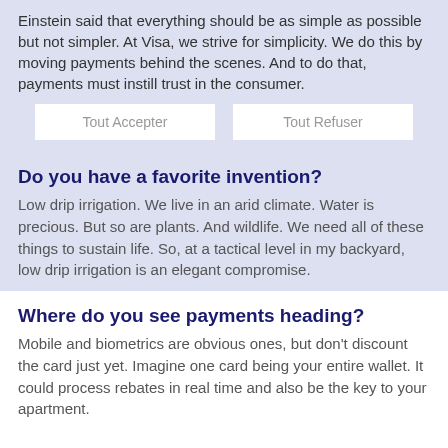Einstein said that everything should be as simple as possible but not simpler. At Visa, we strive for simplicity. We do this by moving payments behind the scenes. And to do that, payments must instill trust in the consumer.
Do you have a favorite invention?
Low drip irrigation. We live in an arid climate. Water is precious. But so are plants. And wildlife. We need all of these things to sustain life. So, at a tactical level in my backyard, low drip irrigation is an elegant compromise.
Where do you see payments heading?
Mobile and biometrics are obvious ones, but don't discount the card just yet. Imagine one card being your entire wallet. It could process rebates in real time and also be the key to your apartment.